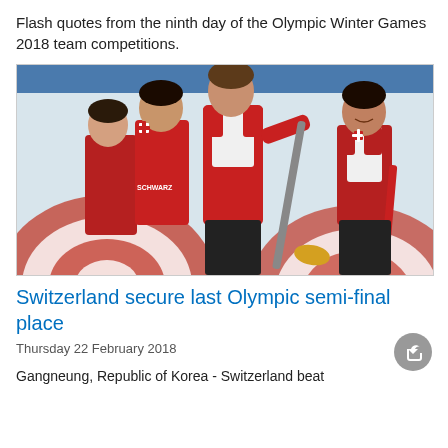Flash quotes from the ninth day of the Olympic Winter Games 2018 team competitions.
[Figure (photo): Swiss curling team members celebrating on the ice rink, wearing red and white uniforms. One player labeled 'SCHWARZ' is being embraced by a teammate. A player in the center holds a broom. Large circular curling targets visible in background.]
Switzerland secure last Olympic semi-final place
Thursday 22 February 2018
Gangneung, Republic of Korea - Switzerland beat